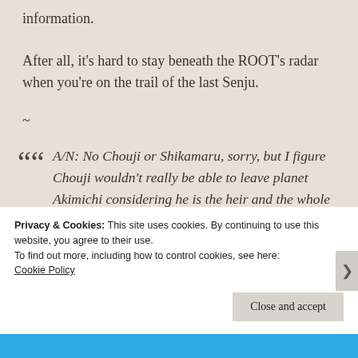information.
After all, it's hard to stay beneath the ROOT's radar when you're on the trail of the last Senju.
~
A/N: No Chouji or Shikamaru, sorry, but I figure Chouji wouldn't really be able to leave planet Akimichi considering he is the heir and the whole twin meeting would be an
Privacy & Cookies: This site uses cookies. By continuing to use this website, you agree to their use.
To find out more, including how to control cookies, see here:
Cookie Policy
Close and accept